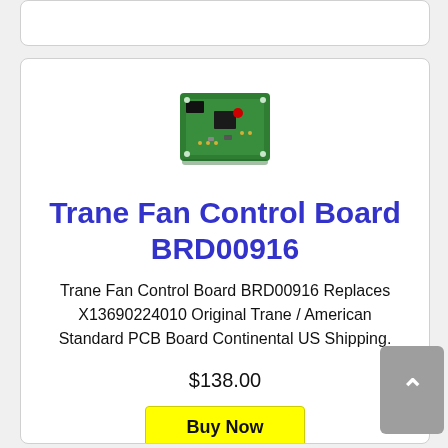[Figure (photo): Green PCB circuit board - Trane Fan Control Board BRD00916]
Trane Fan Control Board BRD00916
Trane Fan Control Board BRD00916 Replaces X13690224010 Original Trane / American Standard PCB Board Continental US Shipping.
$138.00
Buy Now